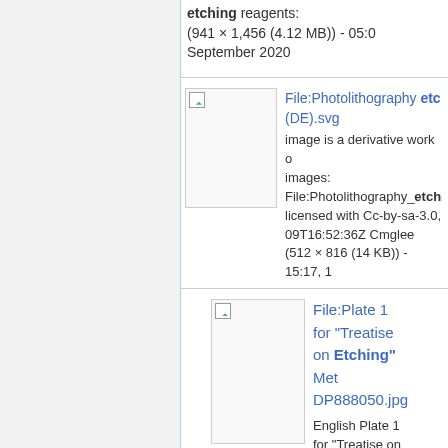etching reagents: (941 × 1,456 (4.12 MB)) - 05:0 September 2020
[Figure (screenshot): Thumbnail image placeholder for Photolithography etching (DE).svg]
File:Photolithography etc (DE).svg
image is a derivative work of images:
File:Photolithography_etchi
licensed with Cc-by-sa-3.0, 09T16:52:36Z Cmglee
(512 × 816 (14 KB)) - 15:17, 1
[Figure (screenshot): Thumbnail image placeholder for Plate 1 for Treatise on Etching Met DP888050.jpg]
File:Plate 1 for "Treatise on Etching" Met DP888050.jpg
English Plate 1 for "Treatise on